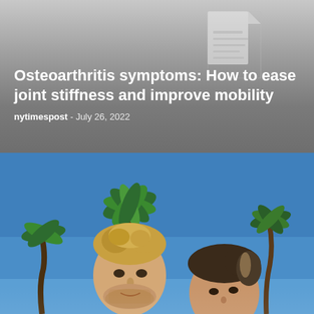[Figure (screenshot): Faded document/article thumbnail image visible in top-right of header area]
Osteoarthritis symptoms: How to ease joint stiffness and improve mobility
nytimespost  -  July 26, 2022
[Figure (photo): Photo of a young man and woman outdoors under a blue sky with palm trees in the background. The man has curly blond hair and a beard; the woman has dark hair with highlights.]